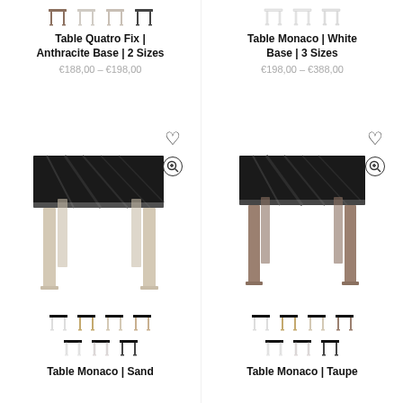[Figure (illustration): Table Quatro Fix with Anthracite Base product card showing color thumbnails and product image]
[Figure (illustration): Table Monaco White Base product card showing color thumbnails]
Table Quatro Fix | Anthracite Base | 2 Sizes
€188,00 – €198,00
Table Monaco | White Base | 3 Sizes
€198,00 – €388,00
[Figure (illustration): Table Monaco Sand - main product photo showing table with black marble top and sand/beige legs]
[Figure (illustration): Table Monaco Taupe - main product photo showing table with black marble top and taupe/brown legs]
[Figure (illustration): Table Monaco Sand color thumbnails and title]
Table Monaco | Sand
[Figure (illustration): Table Monaco Taupe color thumbnails and title]
Table Monaco | Taupe